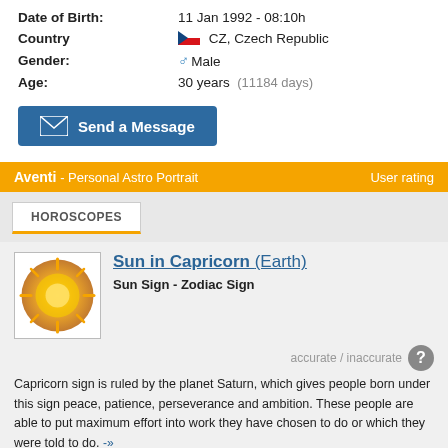Date of Birth: 11 Jan 1992 - 08:10h
Country: CZ, Czech Republic
Gender: Male
Age: 30 years (11184 days)
Send a Message
Aventi - Personal Astro Portrait   User rating
HOROSCOPES
[Figure (illustration): Sun symbol icon with golden/orange circular design on white background with border]
Sun in Capricorn (Earth)
Sun Sign - Zodiac Sign
accurate / inaccurate
Capricorn sign is ruled by the planet Saturn, which gives people born under this sign peace, patience, perseverance and ambition. These people are able to put maximum effort into work they have chosen to do or which they were told to do. -»